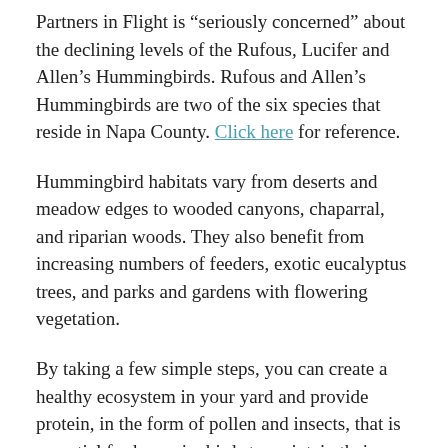Partners in Flight is “seriously concerned” about the declining levels of the Rufous, Lucifer and Allen’s Hummingbirds. Rufous and Allen’s Hummingbirds are two of the six species that reside in Napa County. Click here for reference.
Hummingbird habitats vary from deserts and meadow edges to wooded canyons, chaparral, and riparian woods. They also benefit from increasing numbers of feeders, exotic eucalyptus trees, and parks and gardens with flowering vegetation.
By taking a few simple steps, you can create a healthy ecosystem in your yard and provide protein, in the form of pollen and insects, that is essential for hummingbirds to maintain their bodies and grow new feathers.